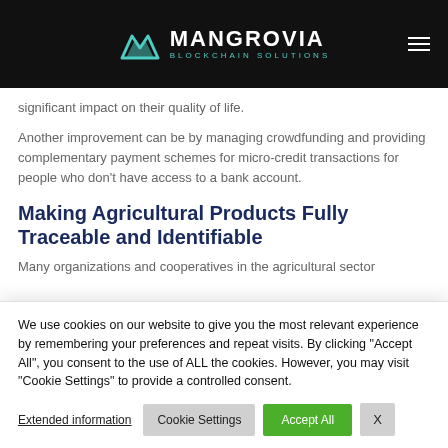MANGROVIA BLOCKCHAIN SOLUTIONS
significant impact on their quality of life.
Another improvement can be by managing crowdfunding and providing complementary payment schemes for micro-credit transactions for people who don't have access to a bank account.
Making Agricultural Products Fully Traceable and Identifiable
Many organizations and cooperatives in the agricultural sector
We use cookies on our website to give you the most relevant experience by remembering your preferences and repeat visits. By clicking "Accept All", you consent to the use of ALL the cookies. However, you may visit "Cookie Settings" to provide a controlled consent.
Extended information
Cookie Settings
Accept All
X